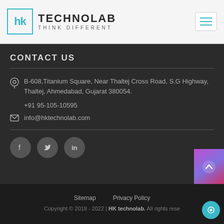TECHNOLAB THINK DIFFERENT
CONTACT US
B-608,Titanium Square, Near Thaltej Cross Road, S.G Highway, Thaltej, Ahmedabad, Gujarat 380054.
+91 95-105-10595
info@hktechnolab.com
[Figure (other): Social media icons: Facebook, Twitter, LinkedIn circles]
Sitemap   Privacy Policy
Copyright © 2018 - 2022 | HK technolab. All rights reserved.